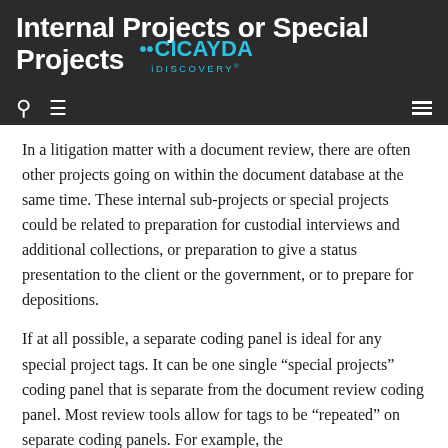Internal Projects or Special Projects
[Figure (logo): CICAYDA iDISCOVERY logo in cyan/blue text]
In a litigation matter with a document review, there are often other projects going on within the document database at the same time. These internal sub-projects or special projects could be related to preparation for custodial interviews and additional collections, or preparation to give a status presentation to the client or the government, or to prepare for depositions.
If at all possible, a separate coding panel is ideal for any special project tags. It can be one single “special projects” coding panel that is separate from the document review coding panel. Most review tools allow for tags to be “repeated” on separate coding panels. For example, the